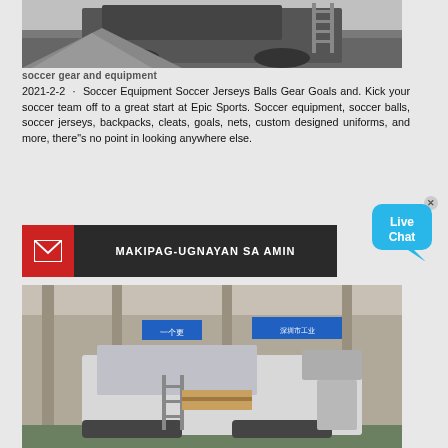[Figure (photo): Industrial machinery / crushing equipment outdoors with gravel and metal ladder]
soccer gear and equipment
2021-2-2 · Soccer Equipment Soccer Jerseys Balls Gear Goals and. Kick your soccer team off to a great start at Epic Sports. Soccer equipment, soccer balls, soccer jerseys, backpacks, cleats, goals, nets, custom designed uniforms, and more, there"s no point in looking anywhere else.
[Figure (other): Live Chat speech bubble widget with close button]
[Figure (other): Contact bar: red icon with envelope and dark background with text MAKIPAG-UGNAYAN SA AMIN]
[Figure (photo): Industrial mobile crushing/screening machine inside a large factory warehouse with Chinese signage]